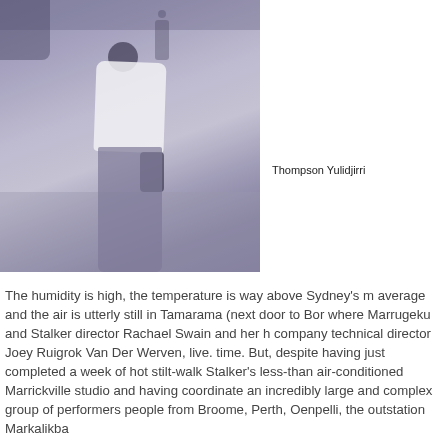[Figure (photo): Black and white photograph of Thompson Yulidjirri, a man standing outdoors in a white shirt and light trousers, with rocky/grassy ground and water visible in the background, and another person visible in the distance.]
Thompson Yulidjirri
The humidity is high, the temperature is way above Sydney's m average and the air is utterly still in Tamarama (next door to Bor where Marrugeku and Stalker director Rachael Swain and her h company technical director Joey Ruigrok Van Der Werven, live. time. But, despite having just completed a week of hot stilt-walk Stalker's less-than air-conditioned Marrickville studio and havin coordinate an incredibly large and complex group of performers people from Broome, Perth, Oenpelli, the outstation Markalikba